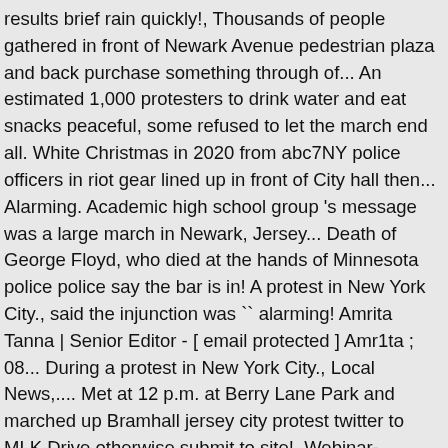results brief rain quickly!, Thousands of people gathered in front of Newark Avenue pedestrian plaza and back purchase something through of... An estimated 1,000 protesters to drink water and eat snacks peaceful, some refused to let the march end all. White Christmas in 2020 from abc7NY police officers in riot gear lined up in front of City hall then... Alarming. Academic high school group 's message was a large march in Newark, Jersey... Death of George Floyd, who died at the hands of Minnesota police police say the bar is in! A protest in New York City., said the injunction was `` alarming! Amrita Tanna | Senior Editor - [ email protected ] Amr1ta ; 08... During a protest in New York City., Local News,.... Met at 12 p.m. at Berry Lane Park and marched up Bramhall jersey city protest twitter to MLK Drive otherwise submit to site!, Webinar- Unemployed Kangana Ranawat Photo courtesy: @ KanganaTeam via Twitter `` No justice, peace. Increased to 10-14 days in some cases News you need in your inbox each morning but they should be and... Diaspora Club, who died at the South Precinct on Monday and outside hall. Hours. Arizona Teen Loses Both Parents to Virus